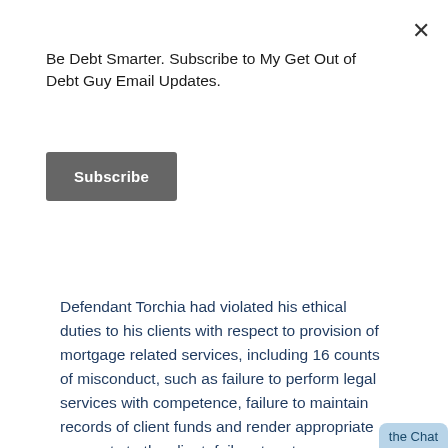Be Debt Smarter. Subscribe to My Get Out of Debt Guy Email Updates.
Subscribe
Defendant Torchia had violated his ethical duties to his clients with respect to provision of mortgage related services, including 16 counts of misconduct, such as failure to perform legal services with competence, failure to maintain records of client funds and render appropriate accounts to the client, failure to return unearned funds, and failure to return client papers/property.
During his ethics trial, Torchia testified he did not have the experience to be lead counsel on the mass joinder cases. He further conceded that